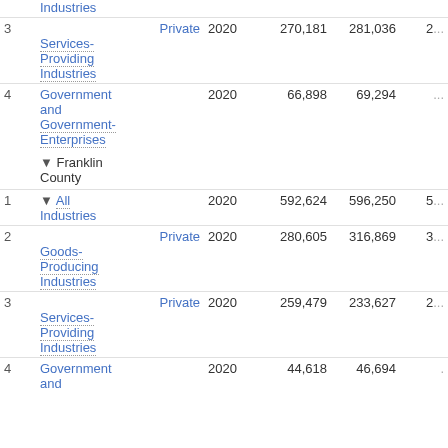| # | Category | Year | Col1 | Col2 | Col3 |
| --- | --- | --- | --- | --- | --- |
|  | Industries |  |  |  |  |
| 3 | Private Services-Providing Industries | 2020 | 270,181 | 281,036 | 2... |
| 4 | Government and Government-Enterprises | 2020 | 66,898 | 69,294 | ... |
|  | ▼ Franklin County |  |  |  |  |
| 1 | ▼ All Industries | 2020 | 592,624 | 596,250 | 5... |
| 2 | Private Goods-Producing Industries | 2020 | 280,605 | 316,869 | 3... |
| 3 | Private Services-Providing Industries | 2020 | 259,479 | 233,627 | 2... |
| 4 | Government and | 2020 | 44,618 | 46,694 | ... |